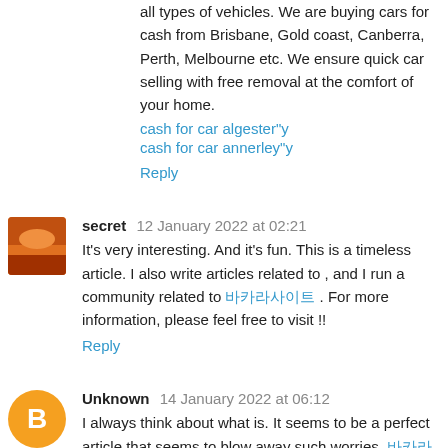all types of vehicles. We are buying cars for cash from Brisbane, Gold coast, Canberra, Perth, Melbourne etc. We ensure quick car selling with free removal at the comfort of your home.
cash for car algester"y
cash for car annerley"y
Reply
secret 12 January 2022 at 02:21
It's very interesting. And it's fun. This is a timeless article. I also write articles related to , and I run a community related to 바카라사이트 . For more information, please feel free to visit !!
Reply
Unknown 14 January 2022 at 06:12
I always think about what is. It seems to be a perfect article that seems to blow away such worries. 바카라 seems to be the best way to show something. When you have time, please write an article about what means!!